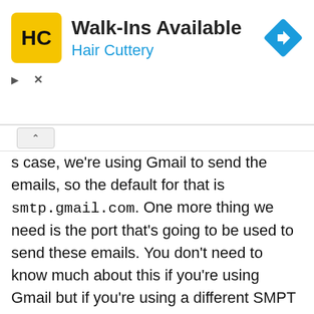[Figure (logo): Hair Cuttery advertisement banner with logo, text 'Walk-Ins Available / Hair Cuttery', and a blue navigation arrow icon]
s case, we're using Gmail to send the emails, so the default for that is smtp.gmail.com. One more thing we need is the port that's going to be used to send these emails. You don't need to know much about this if you're using Gmail but if you're using a different SMPT provider or different email server you might want to go ahead and see if they use a different port to send emails. In our case, the SMTP port is going to be of type integer.
The first thing we should define is the sender email and the email password for that sender now this information we're going to be getting from the